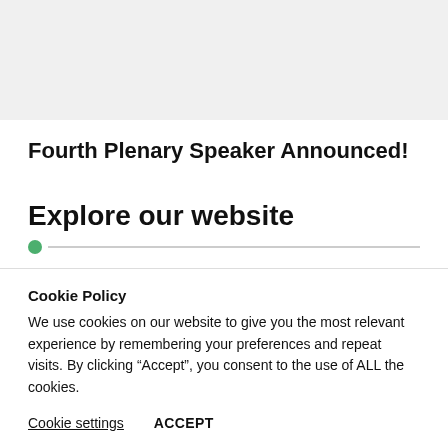[Figure (other): Gray background area at top of page]
Fourth Plenary Speaker Announced!
Explore our website
Cookie Policy
We use cookies on our website to give you the most relevant experience by remembering your preferences and repeat visits. By clicking “Accept”, you consent to the use of ALL the cookies.
Cookie settings   ACCEPT